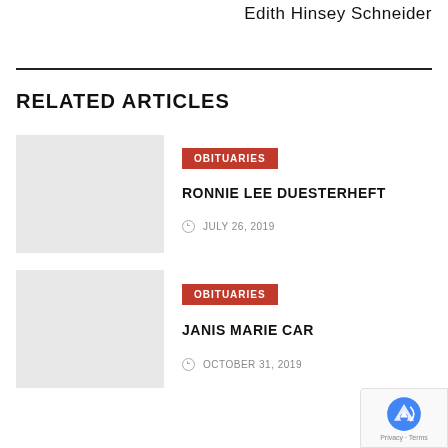Edith Hinsey Schneider
RELATED ARTICLES
OBITUARIES
RONNIE LEE DUESTERHEFT
JULY 26, 2019
OBITUARIES
JANIS MARIE CAR
OCTOBER 31, 2019